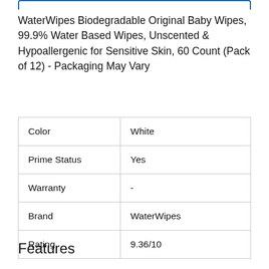WaterWipes Biodegradable Original Baby Wipes, 99.9% Water Based Wipes, Unscented & Hypoallergenic for Sensitive Skin, 60 Count (Pack of 12) - Packaging May Vary
|  |  |
| --- | --- |
| Color | White |
| Prime Status | Yes |
| Warranty | - |
| Brand | WaterWipes |
| Rating | 9.36/10 |
Features